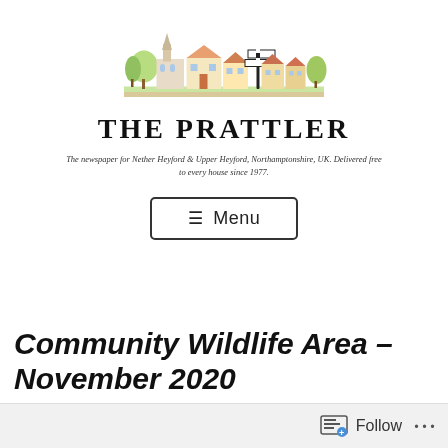[Figure (illustration): Illustrated village scene with houses, trees, and a signpost, forming the masthead of The Prattler newspaper]
THE PRATTLER
The newspaper for Nether Heyford & Upper Heyford, Northamptonshire, UK. Delivered free to every house since 1977.
[Figure (other): Menu button with hamburger icon and text 'Menu']
Community Wildlife Area – November 2020